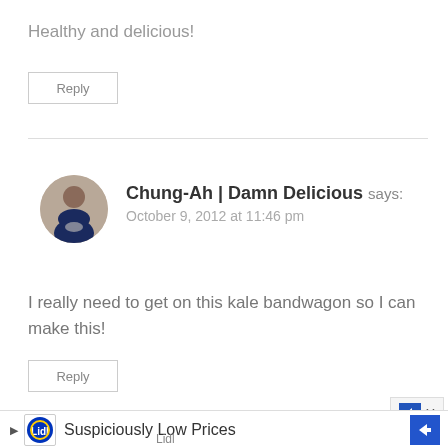Healthy and delicious!
Reply
[Figure (photo): Avatar photo of Chung-Ah, a woman holding a plate of food, circular crop]
Chung-Ah | Damn Delicious says: October 9, 2012 at 11:46 pm
I really need to get on this kale bandwagon so I can make this!
Reply
[Figure (screenshot): Advertisement banner for Lidl: Suspiciously Low Prices, with Lidl logo and navigation arrow icon]